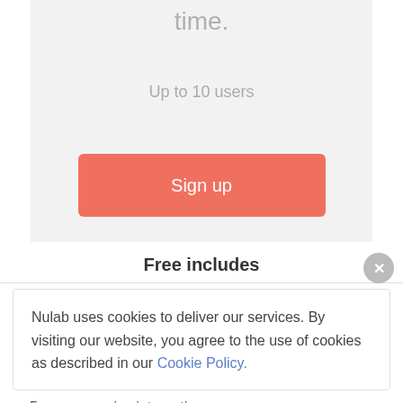time.
Up to 10 users
Sign up
Free includes
Nulab uses cookies to deliver our services. By visiting our website, you agree to the use of cookies as described in our Cookie Policy.
5 app or service integrations
Desktop client and mobile apps